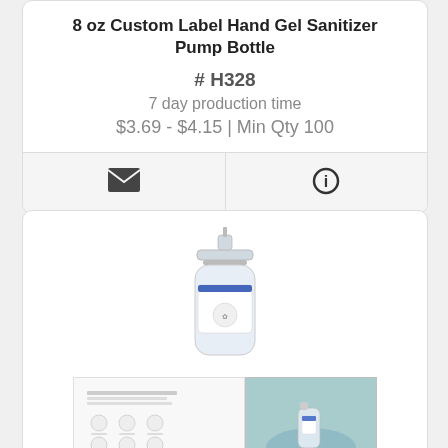8 oz Custom Label Hand Gel Sanitizer Pump Bottle
# H328
7 day production time
$3.69 - $4.15 | Min Qty 100
[Figure (illustration): Envelope icon for email contact action]
[Figure (illustration): Info icon (circle with i) for product information action]
[Figure (photo): Small hand sanitizer bottle with pump, clear plastic with white/blue label]
[Figure (infographic): Product detail graphic showing features/icons of the hand sanitizer]
[Figure (photo): Photo of small hand sanitizer bottle in a bowl with decorative items]
Hand Sanitizer
# DSRSJ0011
30 day production time